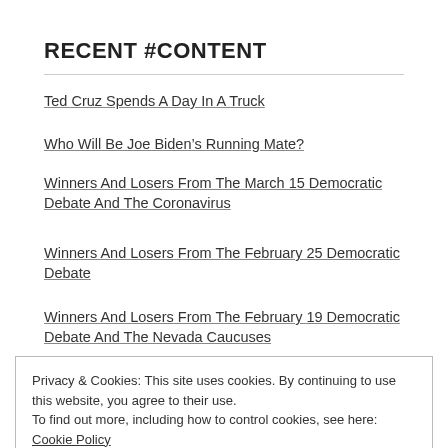RECENT #CONTENT
Ted Cruz Spends A Day In A Truck
Who Will Be Joe Biden’s Running Mate?
Winners And Losers From The March 15 Democratic Debate And The Coronavirus
Winners And Losers From The February 25 Democratic Debate
Winners And Losers From The February 19 Democratic Debate And The Nevada Caucuses
Privacy & Cookies: This site uses cookies. By continuing to use this website, you agree to their use.
To find out more, including how to control cookies, see here: Cookie Policy
Close and accept